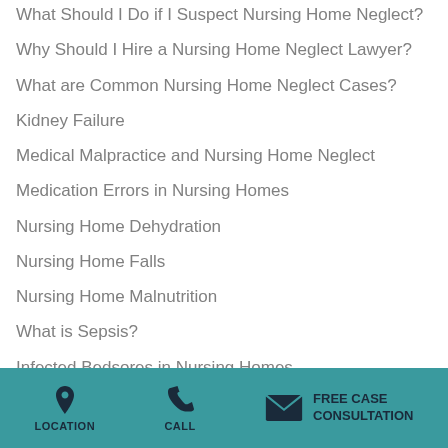What Should I Do if I Suspect Nursing Home Neglect?
Why Should I Hire a Nursing Home Neglect Lawyer?
What are Common Nursing Home Neglect Cases?
Kidney Failure
Medical Malpractice and Nursing Home Neglect
Medication Errors in Nursing Homes
Nursing Home Dehydration
Nursing Home Falls
Nursing Home Malnutrition
What is Sepsis?
Infected Bedsores in Nursing Homes
Urinary Tract Infections in Nursing Homes
Nursing Home Guide Bedsores
LOCATION   CALL   FREE CASE CONSULTATION